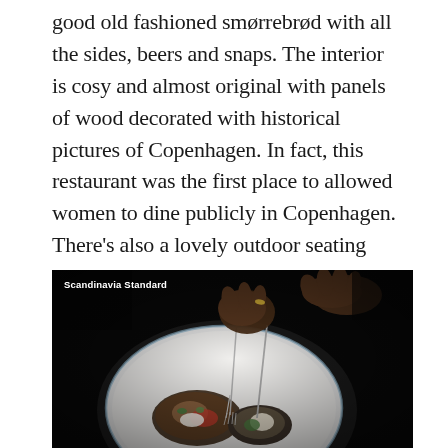good old fashioned smørrebrød with all the sides, beers and snaps. The interior is cosy and almost original with panels of wood decorated with historical pictures of Copenhagen. In fact, this restaurant was the first place to allowed women to dine publicly in Copenhagen. There's also a lovely outdoor seating area when the weather is nice.
[Figure (photo): A close-up photograph of hands using fork and knife to eat smørrebrød (open-faced sandwiches) on a white plate with blue rim, against a dark background. The photo is watermarked 'Scandinavia Standard' in the top left corner.]